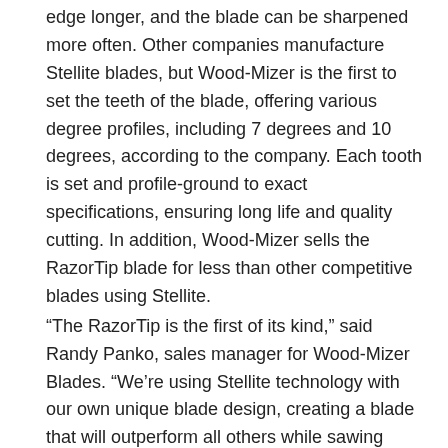edge longer, and the blade can be sharpened more often. Other companies manufacture Stellite blades, but Wood-Mizer is the first to set the teeth of the blade, offering various degree profiles, including 7 degrees and 10 degrees, according to the company. Each tooth is set and profile-ground to exact specifications, ensuring long life and quality cutting. In addition, Wood-Mizer sells the RazorTip blade for less than other competitive blades using Stellite.
“The RazorTip is the first of its kind,” said Randy Panko, sales manager for Wood-Mizer Blades. “We’re using Stellite technology with our own unique blade design, creating a blade that will outperform all others while sawing tough, abrasive wood.”
For more information, call Wood-Mizer at (800) 522-5760 or visit www.woodmizerblades.com.
Vista Machines Offers Angle Boss Up-Cut Saws